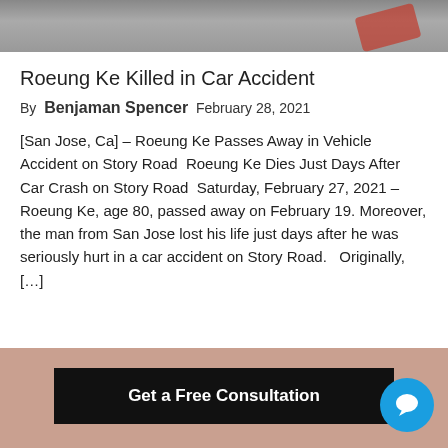[Figure (photo): Top portion of a photograph showing a car accident scene, partially cropped at the top of the page with gray tones and a red element visible on the right.]
Roeung Ke Killed in Car Accident
By  Benjaman Spencer  February 28, 2021
[San Jose, Ca] – Roeung Ke Passes Away in Vehicle Accident on Story Road  Roeung Ke Dies Just Days After Car Crash on Story Road  Saturday, February 27, 2021 – Roeung Ke, age 80, passed away on February 19. Moreover, the man from San Jose lost his life just days after he was seriously hurt in a car accident on Story Road.   Originally, […]
Get a Free Consultation